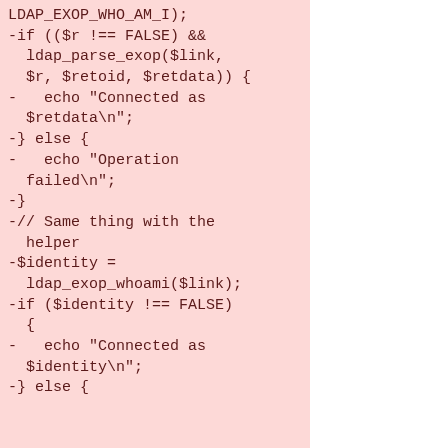LDAP_EXOP_WHO_AM_I);
-if (($r !== FALSE) &&
  ldap_parse_exop($link,
  $r, $retoid, $retdata)) {
-   echo "Connected as
  $retdata\n";
-} else {
-   echo "Operation
  failed\n";
-}
-// Same thing with the
  helper
-$identity =
  ldap_exop_whoami($link);
-if ($identity !== FALSE)
  {
-   echo "Connected as
  $identity\n";
-} else {